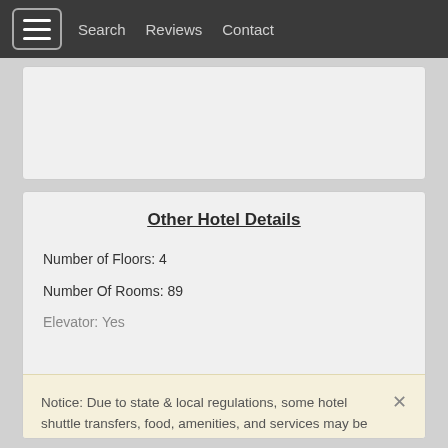Search  Reviews  Contact
Other Hotel Details
Number of Floors: 4
Number Of Rooms: 89
Elevator: Yes
Notice: Due to state & local regulations, some hotel shuttle transfers, food, amenities, and services may be temporarily unavailable or modified. We do our best to keep our information accurate on our website, however, please contact us or the hotel for the latest in service & amenity availability. Thank you for your understanding.
Dismiss